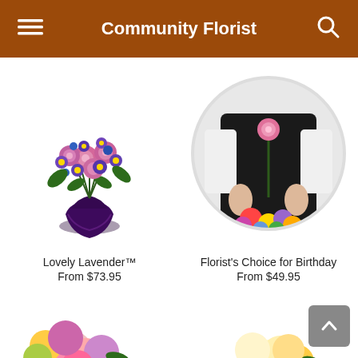Community Florist
[Figure (photo): Lovely Lavender flower arrangement in a dark purple vase with pink roses and purple flowers]
Lovely Lavender™
From $73.95
[Figure (photo): Florist holding a pink rose and colorful bouquet, shown in circular crop]
Florist's Choice for Birthday
From $49.95
[Figure (photo): Partial view of a colorful flower arrangement at bottom left]
[Figure (photo): Partial view of a white and yellow flower arrangement at bottom right]